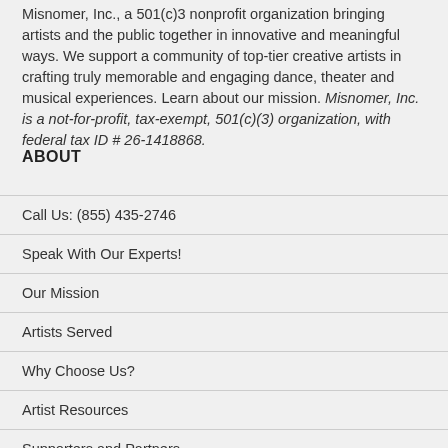Misnomer, Inc., a 501(c)3 nonprofit organization bringing artists and the public together in innovative and meaningful ways. We support a community of top-tier creative artists in crafting truly memorable and engaging dance, theater and musical experiences. Learn about our mission. Misnomer, Inc. is a not-for-profit, tax-exempt, 501(c)(3) organization, with federal tax ID # 26-1418868.
ABOUT
Call Us: (855) 435-2746
Speak With Our Experts!
Our Mission
Artists Served
Why Choose Us?
Artist Resources
Supporters and Partners